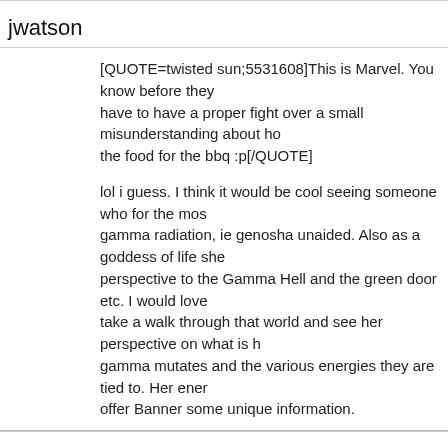jwatson
[QUOTE=twisted sun;5531608]This is Marvel. You know before they have to have a proper fight over a small misunderstanding about ho the food for the bbq :p[/QUOTE]
lol i guess. I think it would be cool seeing someone who for the mos gamma radiation, ie genosha unaided. Also as a goddess of life she perspective to the Gamma Hell and the green door etc. I would love take a walk through that world and see her perspective on what is h gamma mutates and the various energies they are tied to. Her ener offer Banner some unique information.
juan678
[URL="https://www.cbr.com/thor-storm-weather-changing-duo/"]http storm-weather-changing-duo/[/URL]
jwatson
[QUOTE=juan678;5531670][URL ="https://www.cbr.com/thor-storm-